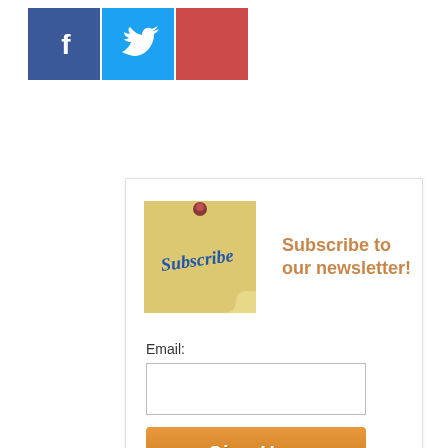[Figure (infographic): Social media icons: Facebook (blue), Twitter (light blue), and a red/pink square icon, displayed as three square buttons in a row]
[Figure (infographic): Newsletter subscription widget with sticky note illustration labeled 'Subscribe', title 'Subscribe to our newsletter!', email input field, orange 'Sign Up »' button, and privacy note]
Subscribe to our newsletter!
Email:
Sign Up »
We respect your email privacy